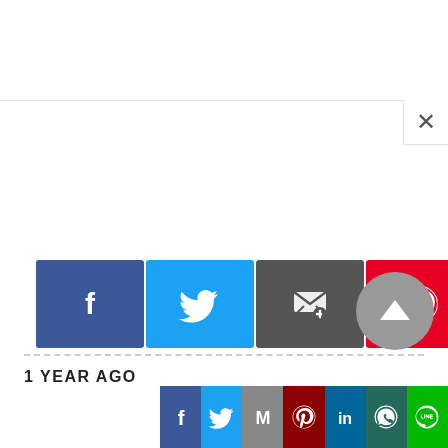[Figure (screenshot): Social share buttons: Facebook (blue), Twitter (blue), Email/Feedly (dark gray), Pinterest (red), More/Plus (orange-red)]
[Figure (screenshot): Scroll-to-top button: gray circle with upward triangle arrow]
1 YEAR AGO
[Figure (screenshot): Bottom share bar with Facebook, Twitter, Gmail, Pinterest, LinkedIn, WhatsApp, Line buttons]